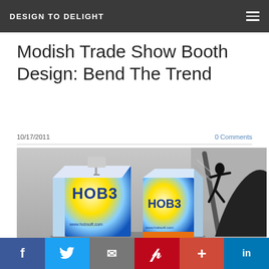DESIGN TO DELIGHT
Modish Trade Show Booth Design: Bend The Trend
10/17/2011
0 Comments
[Figure (photo): Trade show booth display with HOB3/Hobsoft branding — colorful cube-shaped booth panels with yellow/blue radial design and HOB3 logo, plus a silhouette graphic of a surfer on a wave with a surfboard.]
f  Twitter  Email  Pinterest  +  in